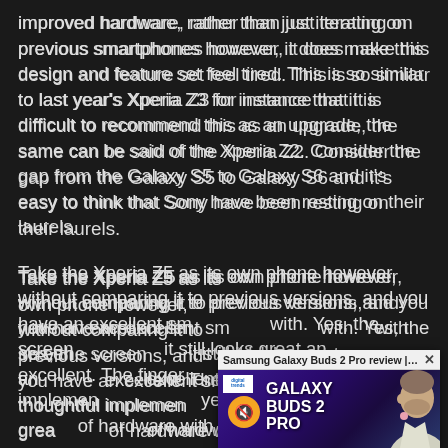improved hardware, rather than just iterating on previous smartphones however, it does make this design and feature set feel tired. This is so similar to last year's Xperia Z3 for instance that it is difficult to recommend this as an upgrade, the same can be said of the Xperia Z2. Consider the gap from the Galaxy S5 to Galaxy S6 and it's easy to think that Sony have been resting on their laurels.
Take the Xperia Z5 as its own phone however, without comparing it to previous versions, and you have an excellent sm[artphone to work] with. Yes, the screen [is not 4K but] it still looks great and [the camera is] excellent. The finger[print sensor is a] thoughtful implemen[tation for this] year, and it feels grea[t. It's a solid piece] of hardware with gre[at specs...]
[Figure (screenshot): A popup video overlay showing 'Samsung Galaxy Buds 2 Pro review | Gr...' with an orange mute button, 'GALAXY BUDS 2 PRO' text on purple background, and a man holding something small]